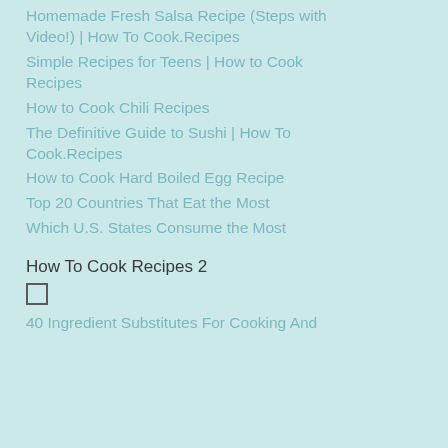Homemade Fresh Salsa Recipe (Steps with Video!) | How To Cook.Recipes
Simple Recipes for Teens | How to Cook Recipes
How to Cook Chili Recipes
The Definitive Guide to Sushi | How To Cook.Recipes
How to Cook Hard Boiled Egg Recipe
Top 20 Countries That Eat the Most
Which U.S. States Consume the Most
How To Cook Recipes 2
40 Ingredient Substitutes For Cooking And